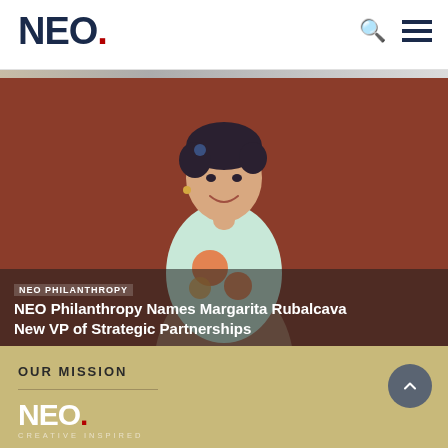NEO.
[Figure (photo): Hero image showing a woman with short dark hair smiling, wearing a floral blouse, set against a rust/terracotta colored background]
NEO Philanthropy Names Margarita Rubalcava New VP of Strategic Partnerships
OUR MISSION
[Figure (logo): NEO. Creative Inspired logo in white on tan/gold background]